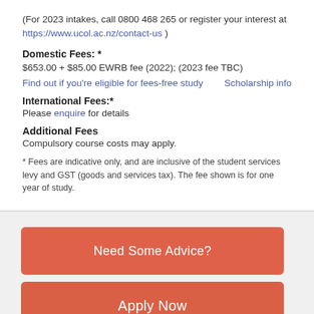(For 2023 intakes, call 0800 468 265 or register your interest at https://www.ucol.ac.nz/contact-us )
Domestic Fees: *
$653.00 + $85.00 EWRB fee (2022); (2023 fee TBC)
Find out if you're eligible for fees-free study    Scholarship info
International Fees:*
Please enquire for details
Additional Fees
Compulsory course costs may apply.
* Fees are indicative only, and are inclusive of the student services levy and GST (goods and services tax). The fee shown is for one year of study.
Need Some Advice?
Apply Now